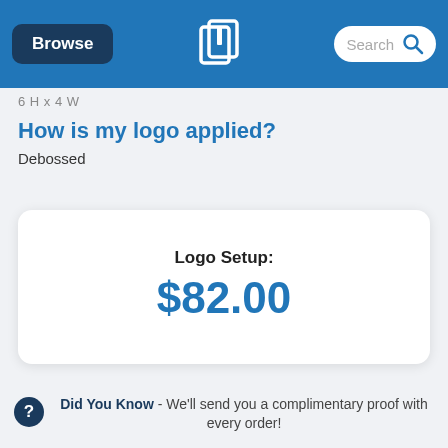Browse | [Logo] | Search
6 H x 4 W
How is my logo applied?
Debossed
Logo Setup: $82.00
Did You Know - We'll send you a complimentary proof with every order!